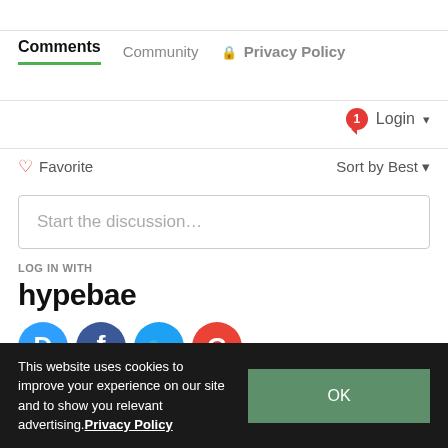Comments | Community | Privacy Policy
Login
♡ Favorite   Sort by Best
Start the discussion...
LOG IN WITH
[Figure (logo): hypebae wordmark logo in bold black text]
[Figure (illustration): Four social login icons: Disqus (blue speech bubble D), Facebook (dark blue circle F), Twitter (light blue circle bird), Google (red circle G)]
OR SIGN UP WITH DISQUS ?
This website uses cookies to improve your experience on our site and to show you relevant advertising. Privacy Policy
OK